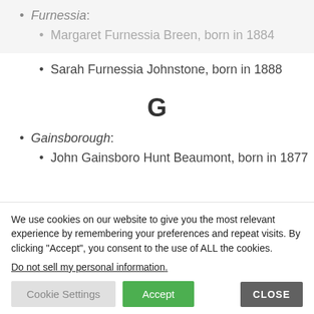Furnessia:
Margaret Furnessia Breen, born in 1884
Sarah Furnessia Johnstone, born in 1888
G
Gainsborough:
John Gainsboro Hunt Beaumont, born in 1877
We use cookies on our website to give you the most relevant experience by remembering your preferences and repeat visits. By clicking “Accept”, you consent to the use of ALL the cookies.
Do not sell my personal information.